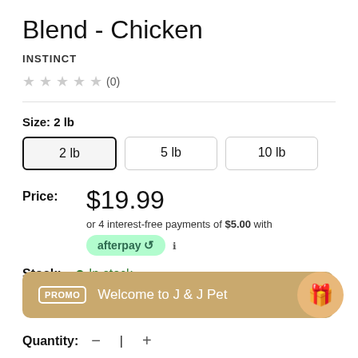Blend - Chicken
INSTINCT
★★★★★ (0)
Size: 2 lb
2 lb | 5 lb | 10 lb
Price: $19.99
or 4 interest-free payments of $5.00 with afterpay
Stock: In stock
PROMO Welcome to J & J Pet
Quantity: — | +